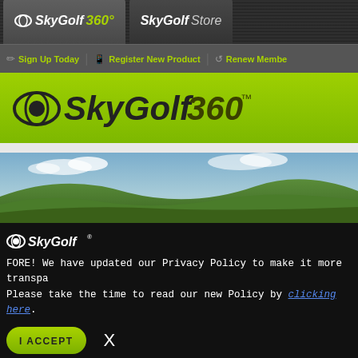[Figure (screenshot): SkyGolf 360 website screenshot showing navigation tabs for SkyGolf 360 and SkyGolf Store]
SkyGolf 360 | SkyGolf Store | Sign Up Today | Register New Product | Renew Membe
[Figure (logo): SkyGolf 360 logo on lime green banner background]
[Figure (photo): Golf course with green hills and blue sky]
FORE! We have updated our Privacy Policy to make it more transparent. Please take the time to read our new Policy by clicking here.
I ACCEPT    X
Leatherhead, N7 KT22 8QP, United Kingdom